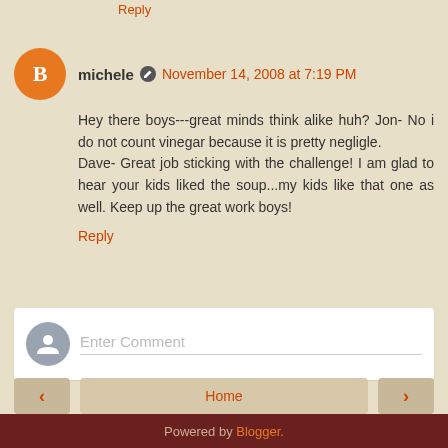Reply
michele · November 14, 2008 at 7:19 PM
Hey there boys---great minds think alike huh? Jon- No i do not count vinegar because it is pretty negligle.
Dave- Great job sticking with the challenge! I am glad to hear your kids liked the soup...my kids like that one as well. Keep up the great work boys!
Reply
Enter Comment
Home
View web version
Powered by Blogger.